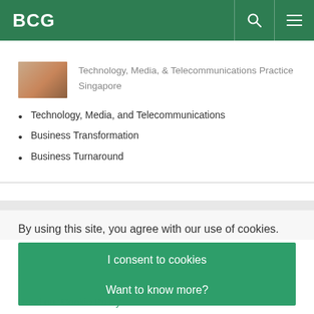BCG
[Figure (photo): Small profile/thumbnail image placeholder (brownish tones)]
Technology, Media, & Telecommunications Practice
Singapore
Technology, Media, and Telecommunications
Business Transformation
Business Turnaround
By using this site, you agree with our use of cookies.
I consent to cookies
Want to know more?
Read our Cookie Policy